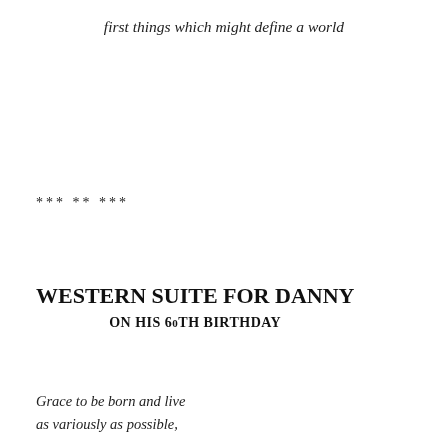first things which might define a world
*** ** ***
WESTERN SUITE FOR DANNY
ON HIS 60TH BIRTHDAY
Grace to be born and live
as variously as possible,